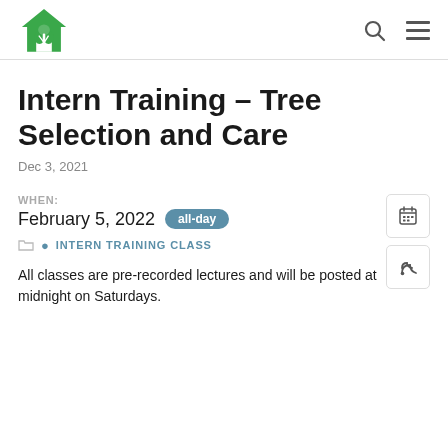Logo and navigation icons
Intern Training – Tree Selection and Care
Dec 3, 2021
WHEN:
February 5, 2022 all-day
INTERN TRAINING CLASS
All classes are pre-recorded lectures and will be posted at midnight on Saturdays.